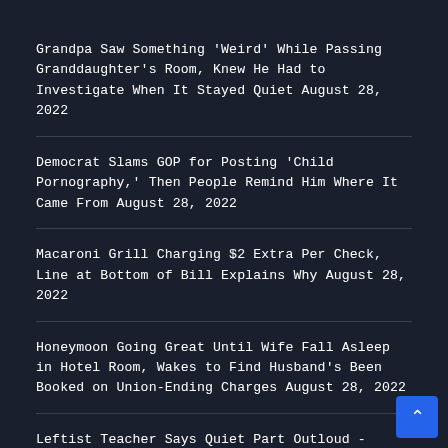Grandpa Saw Something 'Weird' While Passing Granddaughter's Room, Knew He Had to Investigate When It Stayed Quiet August 28, 2022
Democrat Slams GOP for Posting 'Child Pornography,' Then People Remind Him Where It Came From August 28, 2022
Macaroni Grill Charging $2 Extra Per Check, Line at Bottom of Bill Explains Why August 28, 2022
Honeymoon Going Great Until Wife Fall Asleep in Hotel Room, Wakes to Find Husband's Been Booked on Union-Ending Charges August 28, 2022
Leftist Teacher Says Quiet Part Outloud - Accidentally Admits Easy Way to Purge Wokeism Schools August 28, 2022